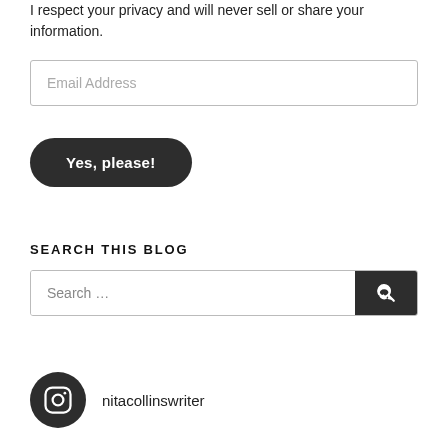I respect your privacy and will never sell or share your information.
[Figure (other): Email Address input field with border]
[Figure (other): Dark rounded button labeled 'Yes, please!']
SEARCH THIS BLOG
[Figure (other): Search input bar with dark search button]
[Figure (other): Instagram icon circle with username nitacollinswriter]